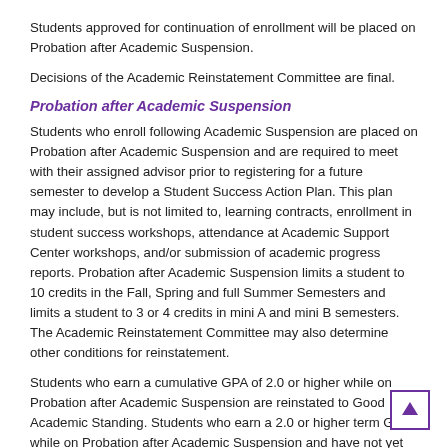Students approved for continuation of enrollment will be placed on Probation after Academic Suspension.
Decisions of the Academic Reinstatement Committee are final.
Probation after Academic Suspension
Students who enroll following Academic Suspension are placed on Probation after Academic Suspension and are required to meet with their assigned advisor prior to registering for a future semester to develop a Student Success Action Plan. This plan may include, but is not limited to, learning contracts, enrollment in student success workshops, attendance at Academic Support Center workshops, and/or submission of academic progress reports. Probation after Academic Suspension limits a student to 10 credits in the Fall, Spring and full Summer Semesters and limits a student to 3 or 4 credits in mini A and mini B semesters.  The Academic Reinstatement Committee may also determine other conditions for reinstatement.
Students who earn a cumulative GPA of 2.0 or higher while on Probation after Academic Suspension are reinstated to Good Academic Standing. Students who earn a 2.0  or higher term GPA while on Probation after Academic Suspension and have not yet earned a cumulative GPA of 2.0 greater are placed on Continued Probation. Students who do not earn a 2.0